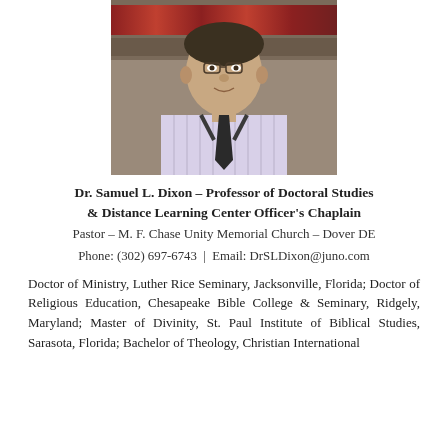[Figure (photo): Portrait photo of Dr. Samuel L. Dixon, a man in a striped shirt and dark tie, with bookshelves in the background]
Dr. Samuel L. Dixon – Professor of Doctoral Studies & Distance Learning Center Officer's Chaplain
Pastor – M. F. Chase Unity Memorial Church – Dover DE
Phone: (302) 697-6743 | Email: DrSLDixon@juno.com
Doctor of Ministry, Luther Rice Seminary, Jacksonville, Florida; Doctor of Religious Education, Chesapeake Bible College & Seminary, Ridgely, Maryland; Master of Divinity, St. Paul Institute of Biblical Studies, Sarasota, Florida; Bachelor of Theology, Christian International